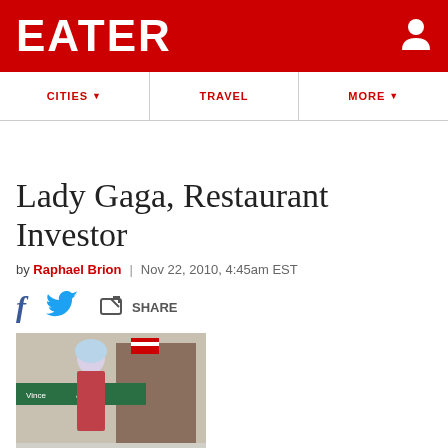EATER
CITIES  TRAVEL  MORE
Lady Gaga, Restaurant Investor
by Raphael Brion | Nov 22, 2010, 4:45am EST
[Figure (photo): Photo of Lady Gaga standing in front of Vince and Eddies restaurant with teal awning and American flag]
Meat-wearing songstress Lady Gaga